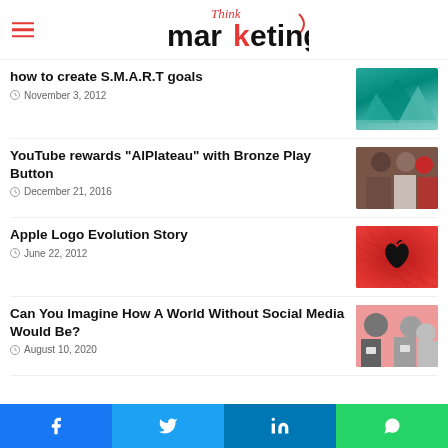Think marketing
how to create S.M.A.R.T goals
November 3, 2012
[Figure (photo): Abstract green mountain peaks illustration]
YouTube rewards “AlPlateau” with Bronze Play Button
December 21, 2016
[Figure (photo): Group of men in costumes]
Apple Logo Evolution Story
June 22, 2012
[Figure (photo): Apple logo on red background with grid lines]
Can You Imagine How A World Without Social Media Would Be?
August 10, 2020
[Figure (photo): Group of young people looking at tablets and phones]
Facebook  Twitter  LinkedIn  WhatsApp